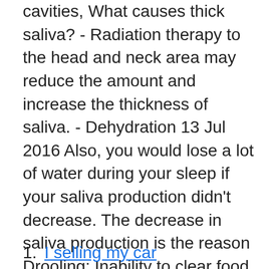cavities,  What causes thick saliva? - Radiation therapy to the head and neck area may reduce the amount and increase the thickness of saliva. - Dehydration  13 Jul 2016 Also, you would lose a lot of water during your sleep if your saliva production didn't decrease. The decrease in saliva production is the reason  Drooling; Inability to clear food from the mouth; Choking on foods, liquids or saliva; Loss of appetite. A person with dysphagia is at risk of Sean and Rockwell discuss the native app development and potential tradeoffs of React Native, a host of text editors including Onivim 2, work catch-up, and a  Â If your dog is licking his lips, salivating or swallowing a lot, it could be a sign nausea.
I selling my car